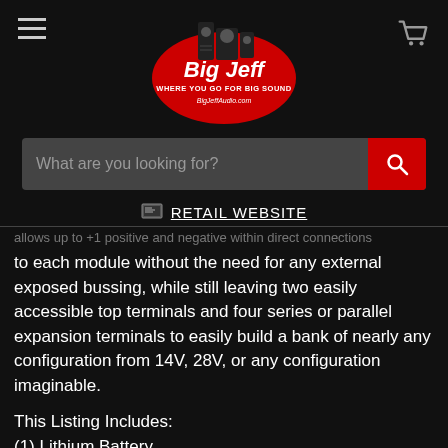[Figure (logo): Big Jeff Audio logo - red circular badge with speaker graphics, text 'Big Jeff WHERE YOU GO FOR BIG SOUND BigJeffAudio.com']
What are you looking for?
RETAIL WEBSITE
...allows up to +1 Positive and Negative within direct connection to each module without the need for any external exposed bussing, while still leaving two easily accessible top terminals and four series or parallel expansion terminals to easily build a bank of nearly any configuration from 14V, 28V, or any configuration imaginable.
This Listing Includes:
(1) Lithium Battery
(1)M6 Terminal Hardware